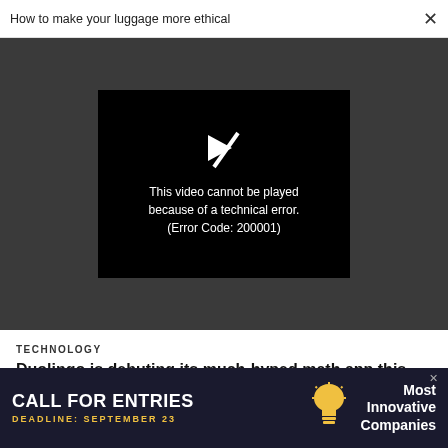How to make your luggage more ethical
[Figure (screenshot): Video player showing error: 'This video cannot be played because of a technical error. (Error Code: 200001)' on a dark background]
TECHNOLOGY
Duolingo is debuting its much-hyped math app this week
[Figure (infographic): Advertisement banner: CALL FOR ENTRIES, DEADLINE: SEPTEMBER 23, Most Innovative Companies]